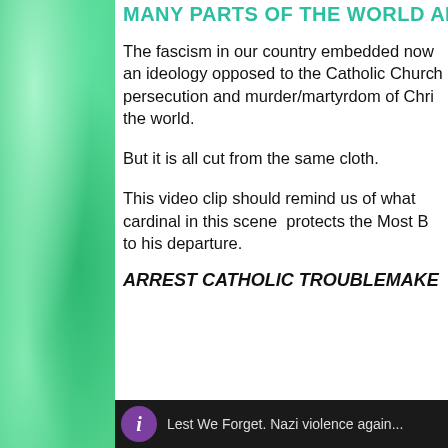MANY PARTS OF THE WORLD AND
The fascism in our country embedded now an ideology opposed to the Catholic Church persecution and murder/martyrdom of Christians the world.
But it is all cut from the same cloth.
This video clip should remind us of what the cardinal in this scene protects the Most B to his departure.
ARREST CATHOLIC TROUBLEMAKERS
[Figure (screenshot): Black video bar with purple circle containing italic 'i' and text 'Lest We Forget. Nazi violence against...']